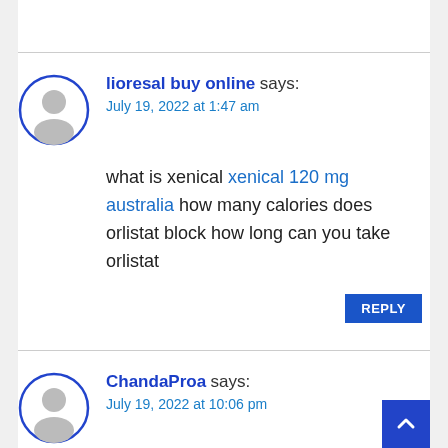lioresal buy online says:
July 19, 2022 at 1:47 am

what is xenical xenical 120 mg australia how many calories does orlistat block how long can you take orlistat
ChandaProa says:
July 19, 2022 at 10:06 pm